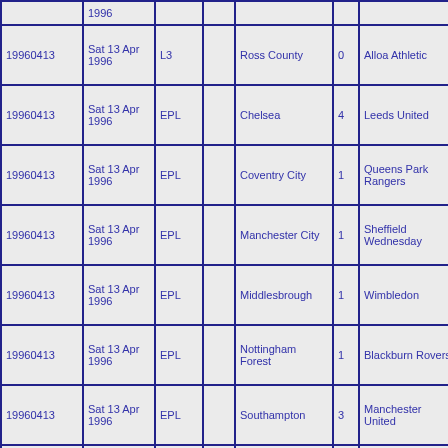| ID | Date | Comp |  | Home | HS | Away | AS | Att |
| --- | --- | --- | --- | --- | --- | --- | --- | --- |
|  | 1996 |  |  |  |  |  |  |  |
| 19960413 | Sat 13 Apr 1996 | L3 |  | Ross County | 0 | Alloa Athletic | 0 | 1068 |
| 19960413 | Sat 13 Apr 1996 | EPL |  | Chelsea | 4 | Leeds United | 1 |  |
| 19960413 | Sat 13 Apr 1996 | EPL |  | Coventry City | 1 | Queens Park Rangers | 0 |  |
| 19960413 | Sat 13 Apr 1996 | EPL |  | Manchester City | 1 | Sheffield Wednesday | 0 |  |
| 19960413 | Sat 13 Apr 1996 | EPL |  | Middlesbrough | 1 | Wimbledon | 2 |  |
| 19960413 | Sat 13 Apr 1996 | EPL |  | Nottingham Forest | 1 | Blackburn Rovers | 5 |  |
| 19960413 | Sat 13 Apr 1996 | EPL |  | Southampton | 3 | Manchester United | 1 |  |
| 19960413 | Sat 13 Apr 1996 | EPL |  | West Ham United | 1 | Bolton Wanderers | 0 |  |
| 19960413 | Sat 13 Apr 1996 | E FL1 |  | Barnsley | 0 | Reading | 1 |  |
| 19960413 | Sat 13 Apr 1996 | E FL1 |  | Birmingham City | 4 | Luton Town | 0 |  |
| 19960413 | Sat 13 Apr 1996 | E FL1 |  | Crystal Palace | 2 | Southend United | 0 |  |
| 19960413 | Sat 13 Apr 1996 | E FL1 |  | Huddersfield Town | 3 | Millwall | 0 |  |